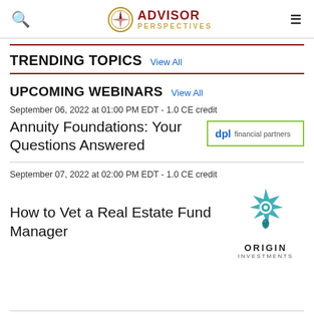ADVISOR PERSPECTIVES
TRENDING TOPICS  View All
UPCOMING WEBINARS  View All
September 06, 2022 at 01:00 PM EDT - 1.0 CE credit
Annuity Foundations: Your Questions Answered
[Figure (logo): DPL Financial Partners logo — green bordered box with 'dpl financial partners' text]
September 07, 2022 at 02:00 PM EDT - 1.0 CE credit
How to Vet a Real Estate Fund Manager
[Figure (logo): Origin Investments logo — teal star/compass icon above 'ORIGIN INVESTMENTS' text]